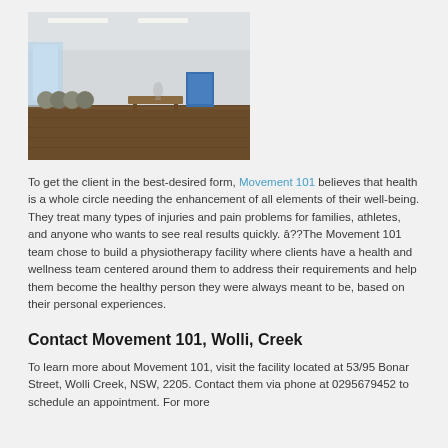[Figure (photo): Interior of a physiotherapy/gym facility with open floor space, exercise balls along the wall, large windows, and a bench in the background. Fluorescent lighting overhead, dark wood-style flooring.]
To get the client in the best-desired form, Movement 101 believes that health is a whole circle needing the enhancement of all elements of their well-being. They treat many types of injuries and pain problems for families, athletes, and anyone who wants to see real results quickly. â??The Movement 101 team chose to build a physiotherapy facility where clients have a health and wellness team centered around them to address their requirements and help them become the healthy person they were always meant to be, based on their personal experiences.
Contact Movement 101, Wolli, Creek
To learn more about Movement 101, visit the facility located at 53/95 Bonar Street, Wolli Creek, NSW, 2205. Contact them via phone at 0295679452 to schedule an appointment. For more